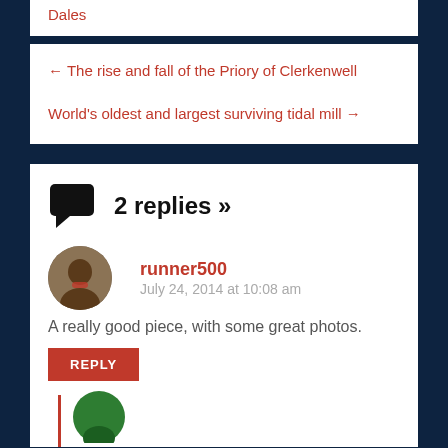Dales
← The rise and fall of the Priory of Clerkenwell
World's oldest and largest surviving tidal mill →
2 replies »
runner500
July 24, 2014 at 10:08 am
A really good piece, with some great photos.
REPLY